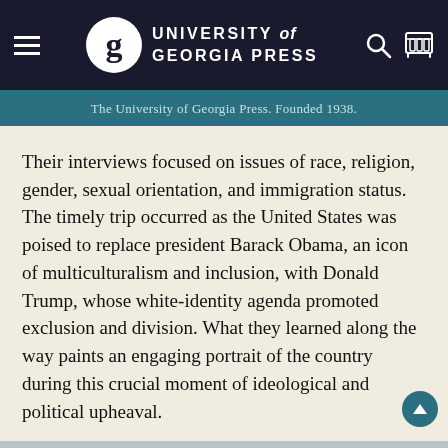[Figure (logo): University of Georgia Press logo and navigation bar with hamburger menu, circular G logo, press name, search and cart icons on dark navy background]
The University of Georgia Press. Founded 1938.
Their interviews focused on issues of race, religion, gender, sexual orientation, and immigration status. The timely trip occurred as the United States was poised to replace president Barack Obama, an icon of multiculturalism and inclusion, with Donald Trump, whose white-identity agenda promoted exclusion and division. What they learned along the way paints an engaging portrait of the country during this crucial moment of ideological and political upheaval.
ABOUT THE AUTHOR/EDITOR